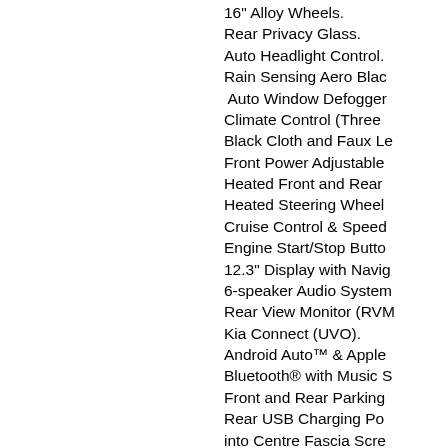16" Alloy Wheels.
Rear Privacy Glass.
Auto Headlight Control.
Rain Sensing Aero Blac…
Auto Window Defogger…
Climate Control (Three…
Black Cloth and Faux Le…
Front Power Adjustable…
Heated Front and Rear…
Heated Steering Wheel…
Cruise Control & Speed…
Engine Start/Stop Butto…
12.3" Display with Navig…
6-speaker Audio System…
Rear View Monitor (RVM…
Kia Connect (UVO).
Android Auto™ & Apple…
Bluetooth® with Music S…
Front and Rear Parking…
Rear USB Charging Po…
into Centre Fascia Scre…
Trip Computer.